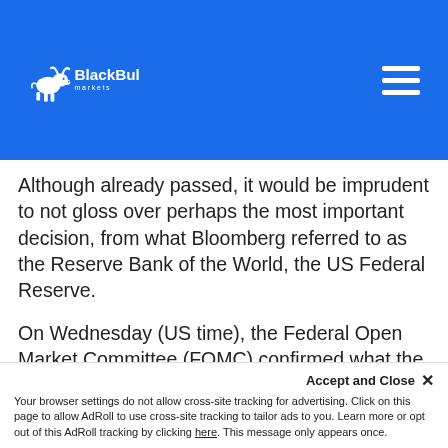BlackBull Markets
Although already passed, it would be imprudent to not gloss over perhaps the most important decision, from what Bloomberg referred to as the Reserve Bank of the World, the US Federal Reserve.
On Wednesday (US time), the Federal Open Market Committee (FOMC) confirmed what the market was expecting; namely, the Federal Reserve would double
Accept and Close ✕
Your browser settings do not allow cross-site tracking for advertising. Click on this page to allow AdRoll to use cross-site tracking to tailor ads to you. Learn more or opt out of this AdRoll tracking by clicking here. This message only appears once.